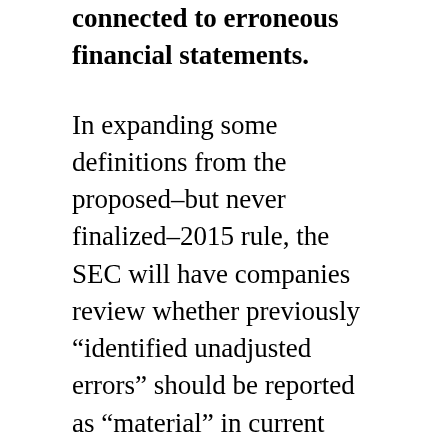connected to erroneous financial statements.
In expanding some definitions from the proposed–but never finalized–2015 rule, the SEC will have companies review whether previously “identified unadjusted errors” should be reported as “material” in current financial reports.
The proposal also details compliance with the provision that requires companies to adopt, disclose, and comply with a compensation clawback policy or else they’ll face delisting from a stock exchange